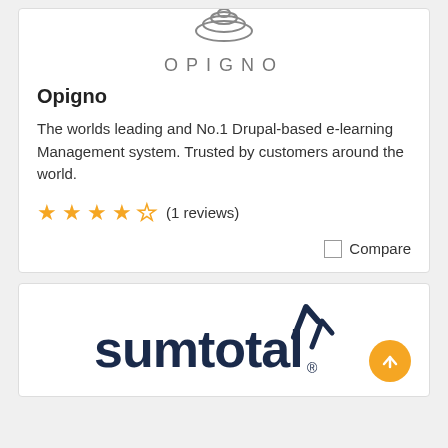[Figure (logo): Opigno logo — concentric oval rings above the text OPIGNO in grey spaced capitals]
Opigno
The worlds leading and No.1 Drupal-based e-learning Management system. Trusted by customers around the world.
★★★★☆ (1 reviews)
Compare
[Figure (logo): SumTotal logo in dark navy blue with stylized tick marks above — text reads sumtotal with a registered trademark symbol]